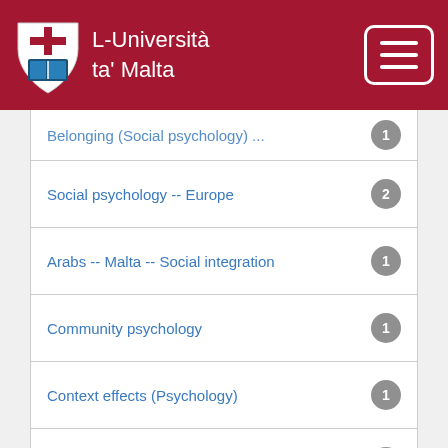L-Università ta' Malta
Belonging (Social psychology) ...  [badge: truncated/partial]
Social psychology -- Europe  2
Arabs -- Malta -- Social integration  1
Community psychology  1
Context effects (Psychology)  1
Emigration and immigration -- Pre...  1
Emigration and immigration -- Soc...  1
next >